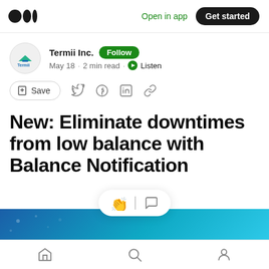Medium — Open in app | Get started
Termii Inc. · Follow · May 18 · 2 min read · Listen
Save
New: Eliminate downtimes from low balance with Balance Notification
[Figure (illustration): Blue gradient banner image at the bottom of the article preview]
Home | Search | Profile